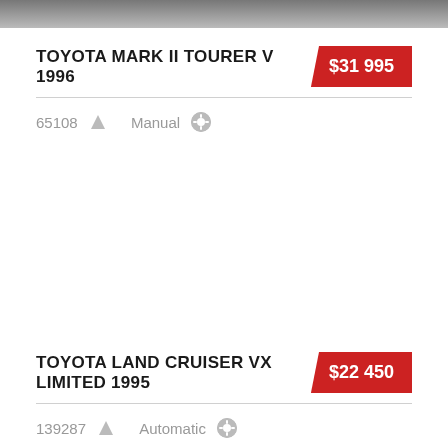[Figure (photo): Partial view of a car photo at the top of the page]
TOYOTA MARK II TOURER V 1996
$31 995
65108  Manual
TOYOTA LAND CRUISER VX LIMITED 1995
$22 450
139287  Automatic